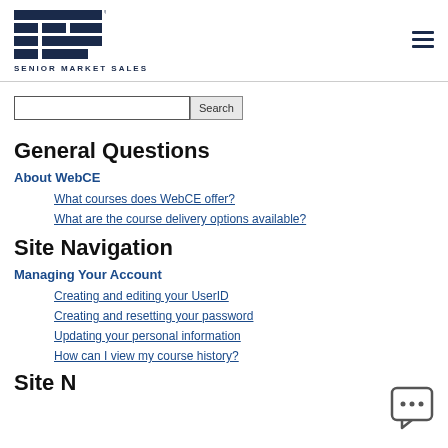Senior Market Sales logo and navigation
General Questions
About WebCE
What courses does WebCE offer?
What are the course delivery options available?
Site Navigation
Managing Your Account
Creating and editing your UserID
Creating and resetting your password
Updating your personal information
How can I view my course history?
Site Navigation (partial)